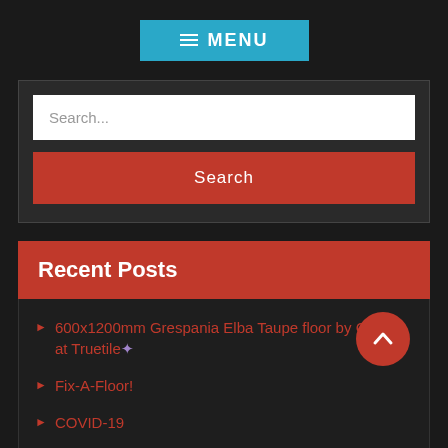[Figure (screenshot): Menu button with hamburger icon on teal/blue background]
Search...
Search
Recent Posts
600x1200mm Grespania Elba Taupe floor by George at Truetile ✨
Fix-A-Floor!
COVID-19
Breathtaking build in Stratford-Upon-Avon ✨
Gala Range